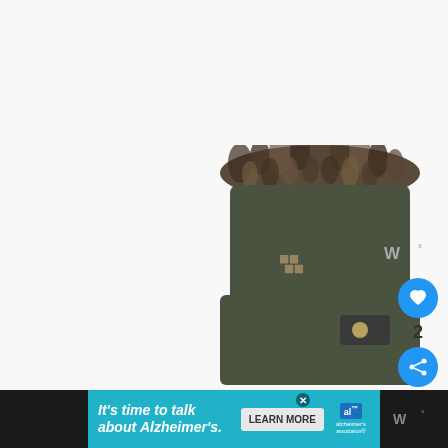[Figure (photo): Product photo of a Columbia winter boot/snow boot with fur trim at the top and Columbia logo visible, shown against a white background. The boot is dark olive/green color with faux fur collar.]
[Figure (logo): Watermark logo 'W°' in grey at top right of image area]
[Figure (infographic): Social interaction sidebar: heart/like button (blue circle with heart icon), count '2', and share button (blue circle with share icon)]
[Figure (photo): Advertisement banner: 'It's time to talk about Alzheimer's.' with LEARN MORE button and Alzheimer's Association logo, teal background, with close X button. Black bars on left and right edges with W° watermark logo on right.]